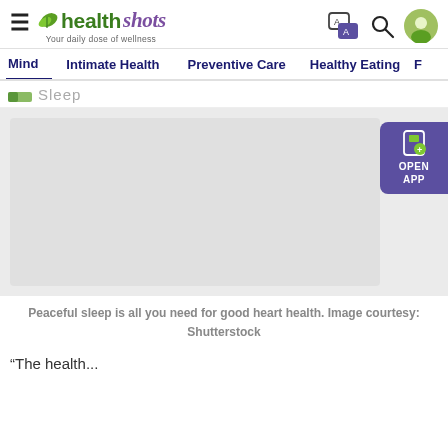[Figure (logo): Health Shots logo with leaf icon and tagline 'Your daily dose of wellness']
Mind   Intimate Health   Preventive Care   Healthy Eating   F...
Sleep
[Figure (photo): Large image area (partially visible) related to peaceful sleep and heart health]
Peaceful sleep is all you need for good heart health. Image courtesy: Shutterstock
"The health...